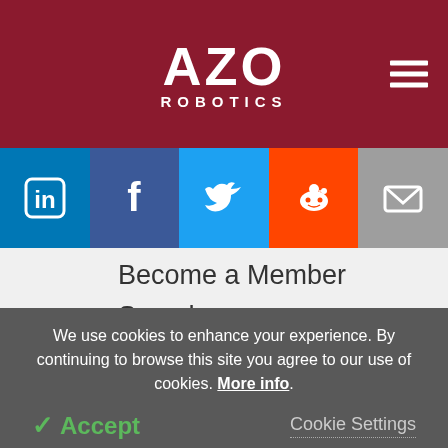AZO ROBOTICS
[Figure (infographic): Social media icon bar with LinkedIn, Facebook, Twitter, Reddit, and Email icons on colored backgrounds]
Become a Member
Search
The Team
Contact
Help/FAQs
Advertise
Terms & Conditions
We use cookies to enhance your experience. By continuing to browse this site you agree to our use of cookies. More info.
✓ Accept   Cookie Settings